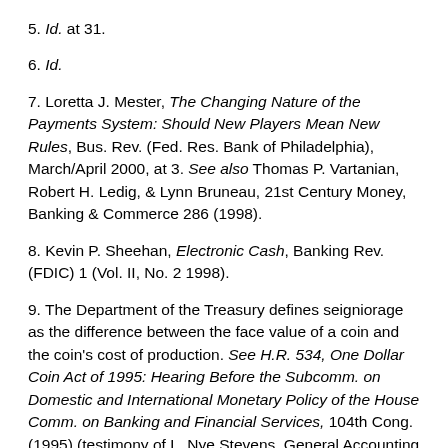5. Id. at 31.
6. Id.
7. Loretta J. Mester, The Changing Nature of the Payments System: Should New Players Mean New Rules, Bus. Rev. (Fed. Res. Bank of Philadelphia), March/April 2000, at 3. See also Thomas P. Vartanian, Robert H. Ledig, & Lynn Bruneau, 21st Century Money, Banking & Commerce 286 (1998).
8. Kevin P. Sheehan, Electronic Cash, Banking Rev. (FDIC) 1 (Vol. II, No. 2 1998).
9. The Department of the Treasury defines seigniorage as the difference between the face value of a coin and the coin's cost of production. See H.R. 534, One Dollar Coin Act of 1995: Hearing Before the Subcomm. on Domestic and International Monetary Policy of the House Comm. on Banking and Financial Services, 104th Cong. (1995) (testimony of L. Nye Stevens, General Accounting Office). Of course, if traceable electronic payments become the norm